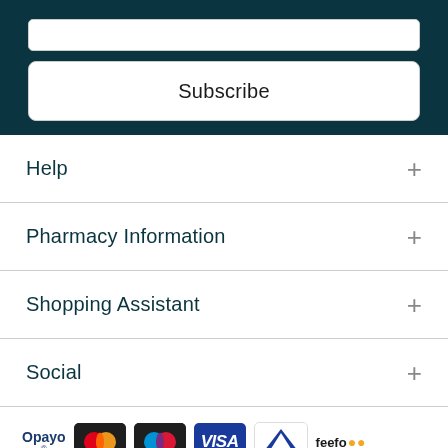Subscribe
Help
Pharmacy Information
Shopping Assistant
Social
[Figure (logo): Payment method logos: Opayo, Mastercard, Maestro, Visa, Delta, Feefo]